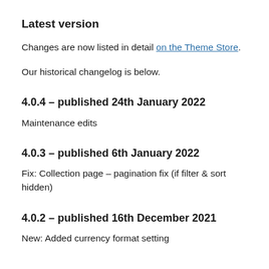Latest version
Changes are now listed in detail on the Theme Store.
Our historical changelog is below.
4.0.4 – published 24th January 2022
Maintenance edits
4.0.3 – published 6th January 2022
Fix: Collection page – pagination fix (if filter & sort hidden)
4.0.2 – published 16th December 2021
New: Added currency format setting